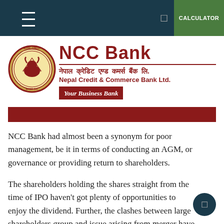NCC Bank — Nepal Credit & Commerce Bank Ltd. — Your Business Bank
[Figure (logo): NCC Bank circular seal/crest logo in gold and red with an ox/bull emblem and Nepali text around the border]
NCC Bank
नेपाल क्रेडिट एण्ड कमर्स बैंक लि.
Nepal Credit & Commerce Bank Ltd.
Your Business Bank
NCC Bank had almost been a synonym for poor management, be it in terms of conducting an AGM, or governance or providing return to shareholders.
The shareholders holding the shares straight from the time of IPO haven't got plenty of opportunities to enjoy the dividend. Further, the clashes between large shareholders group and issue arising from merger have left the retail